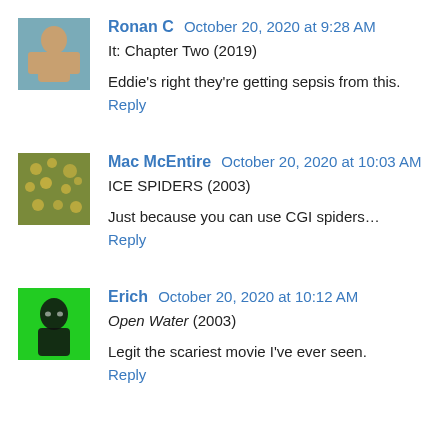[Figure (photo): Avatar thumbnail of Ronan C, shirtless man outdoors]
Ronan C October 20, 2020 at 9:28 AM
It: Chapter Two (2019)
Eddie's right they're getting sepsis from this.
Reply
[Figure (photo): Avatar thumbnail of Mac McEntire, green and yellow spotted pattern]
Mac McEntire October 20, 2020 at 10:03 AM
ICE SPIDERS (2003)
Just because you can use CGI spiders…
Reply
[Figure (photo): Avatar thumbnail of Erich, green background with dark portrait silhouette]
Erich October 20, 2020 at 10:12 AM
Open Water (2003)
Legit the scariest movie I've ever seen.